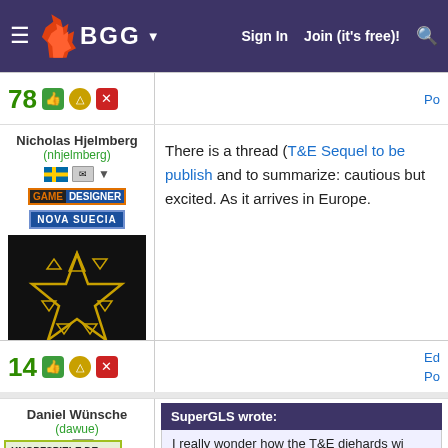BGG | Sign In | Join (it's free)!
78
Nicholas Hjelmberg (nhjelmberg) GAME DESIGNER NOVA SUECIA
There is a thread (T&E Sequel to be published) and to summarize: cautious but excited. As it arrives in Europe.
14
Daniel Wünsche (dawue)
SuperGLS wrote: I really wonder how the T&E diehards wi